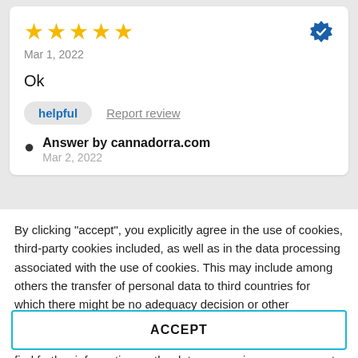[Figure (other): Five yellow star rating with blue verified checkmark badge on the right]
Mar 1, 2022
Ok
helpful   Report review
Answer by cannadorra.com
Mar 2, 2022
By clicking "accept", you explicitly agree in the use of cookies, third-party cookies included, as well as in the data processing associated with the use of cookies. This may include among others the transfer of personal data to third countries for which there might be no adequacy decision or other appropriate safeguards in place. You can revoke your consent at any given time with immediate effect for the future. You can find further information on the data processing purposes, opt-out options, your rights, and the risks of data transfers to third countries here.
ACCEPT